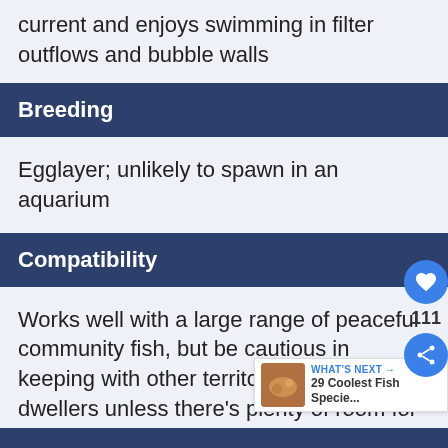current and enjoys swimming in filter outflows and bubble walls
Breeding
Egglayer; unlikely to spawn in an aquarium
Compatibility
Works well with a large range of peaceful community fish, but be cautious in keeping with other territorial bottom dwellers unless there's plenty of room for each to establish territories